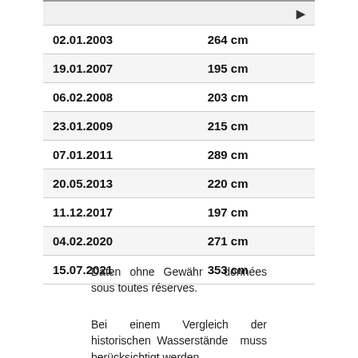| Date | Value |
| --- | --- |
| 02.01.2003 | 264 cm |
| 19.01.2007 | 195 cm |
| 06.02.2008 | 203 cm |
| 23.01.2009 | 215 cm |
| 07.01.2011 | 289 cm |
| 20.05.2013 | 220 cm |
| 11.12.2017 | 197 cm |
| 04.02.2020 | 271 cm |
| 15.07.2021 | 353 cm |
Daten ohne Gewähr - données sous toutes réserves.
Bei einem Vergleich der historischen Wasserstände muss berücksichtigt werden